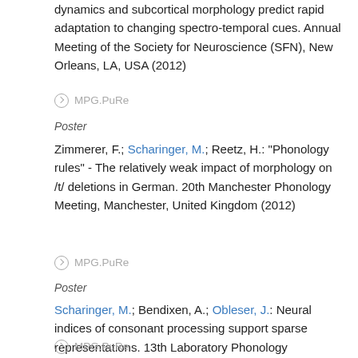dynamics and subcortical morphology predict rapid adaptation to changing spectro-temporal cues. Annual Meeting of the Society for Neuroscience (SFN), New Orleans, LA, USA (2012)
⊘ MPG.PuRe
Poster
Zimmerer, F.; Scharinger, M.; Reetz, H.: "Phonology rules" - The relatively weak impact of morphology on /t/ deletions in German. 20th Manchester Phonology Meeting, Manchester, United Kingdom (2012)
⊘ MPG.PuRe
Poster
Scharinger, M.; Bendixen, A.; Obleser, J.: Neural indices of consonant processing support sparse representations. 13th Laboratory Phonology Conference, Stuttgart, Germany (2012)
⊘ MPG.PuRe